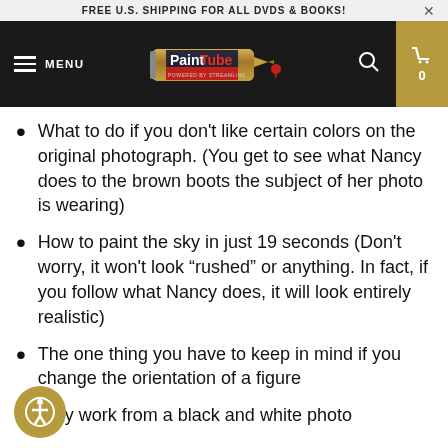FREE U.S. SHIPPING FOR ALL DVDS & BOOKS!
[Figure (logo): PaintTube logo — paint tube graphic with 'PaintTube powered by Streamline' text on dark background, navigation bar with hamburger menu, search icon, and gold cart icon]
What to do if you don't like certain colors on the original photograph. (You get to see what Nancy does to the brown boots the subject of her photo is wearing)
How to paint the sky in just 19 seconds (Don't worry, it won't look “rushed” or anything. In fact, if you follow what Nancy does, it will look entirely realistic)
The one thing you have to keep in mind if you change the orientation of a figure
Why work from a black and white photo